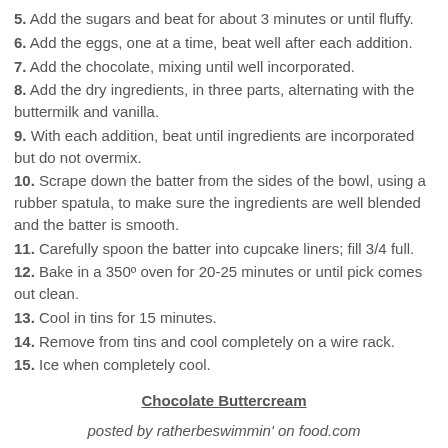5. Add the sugars and beat for about 3 minutes or until fluffy.
6. Add the eggs, one at a time, beat well after each addition.
7. Add the chocolate, mixing until well incorporated.
8. Add the dry ingredients, in three parts, alternating with the buttermilk and vanilla.
9. With each addition, beat until ingredients are incorporated but do not overmix.
10. Scrape down the batter from the sides of the bowl, using a rubber spatula, to make sure the ingredients are well blended and the batter is smooth.
11. Carefully spoon the batter into cupcake liners; fill 3/4 full.
12. Bake in a 350º oven for 20-25 minutes or until pick comes out clean.
13. Cool in tins for 15 minutes.
14. Remove from tins and cool completely on a wire rack.
15. Ice when completely cool.
Chocolate Buttercream
posted by ratherbeswimmin' on food.com
Ingredients